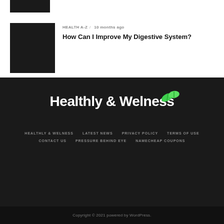[Figure (photo): Small black thumbnail image at top]
[Figure (photo): Large black thumbnail image for article]
HEALTH A-Z / 10 months ago
How Can I Improve My Digestive System?
[Figure (logo): Healthly & Welness logo with green leaves on dark background]
HEALTHLY & WELNESS   LATEST NEWS   PRIVACY POLICY   TERMS OF USE   CONTACT US   PRESSURE BEHIND EYE   NAMECHEAP COUPONS
Copyright © 2021 powered by WordPress.